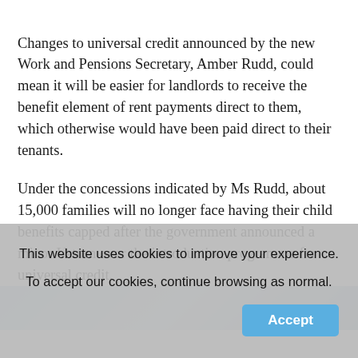Changes to universal credit announced by the new Work and Pensions Secretary, Amber Rudd, could mean it will be easier for landlords to receive the benefit element of rent payments direct to them, which otherwise would have been paid direct to their tenants.
Under the concessions indicated by Ms Rudd, about 15,000 families will no longer face having their child benefits capped after the government announced a minor U-turn over the introduction programme for universal credit.
[Figure (photo): Partial photo strip showing a light blue sky or background, cropped at the bottom of the text area.]
This website uses cookies to improve your experience. To accept our cookies, continue browsing as normal. Accept